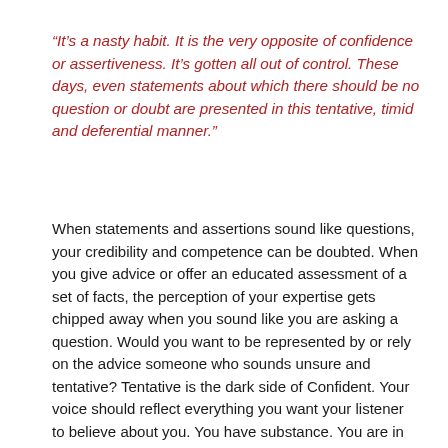“It’s a nasty habit. It is the very opposite of confidence or assertiveness. It’s gotten all out of control. These days, even statements about which there should be no question or doubt are presented in this tentative, timid and deferential manner.”
When statements and assertions sound like questions, your credibility and competence can be doubted. When you give advice or offer an educated assessment of a set of facts, the perception of your expertise gets chipped away when you sound like you are asking a question. Would you want to be represented by or rely on the advice someone who sounds unsure and tentative? Tentative is the dark side of Confident. Your voice should reflect everything you want your listener to believe about you. You have substance. You are in control. You are